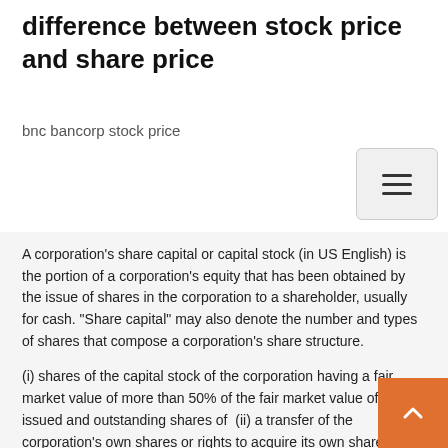difference between stock price and share price
bnc bancorp stock price
A corporation's share capital or capital stock (in US English) is the portion of a corporation's equity that has been obtained by the issue of shares in the corporation to a shareholder, usually for cash. "Share capital" may also denote the number and types of shares that compose a corporation's share structure.
(i) shares of the capital stock of the corporation having a fair market value of more than 50% of the fair market value of all the issued and outstanding shares of  (ii) a transfer of the corporation's own shares or rights to acquire its own shares. of shares within the same class that does not increase the stated capital of the corporation. (A) the date the corporation issued the shares, securities, or rights; . Capital stock definition is the